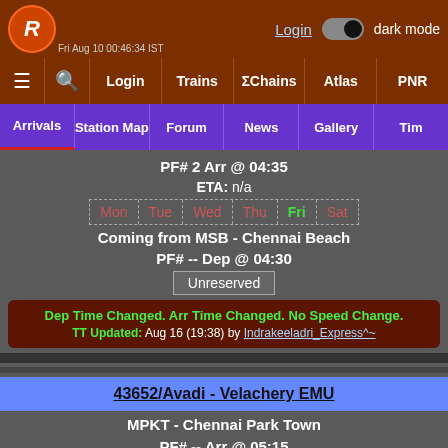Rail app header with logo, Login, dark mode toggle, Fri Aug 10 00:46:34 IST
Nav: Menu, Search, Login, Trains, ΣChains, Atlas, PNR
Tabs: Arrivals (active), Station Map, Forum, News, Gallery, Tim...
PF# 2 Arr @ 04:35
ETA: n/a
Days: Mon Tue Wed Thu Fri(active) Sat
Coming from MSB - Chennai Beach
PF# -- Dep @ 04:30
Unreserved
Dep Time Changed. Arr Time Changed. No Speed Change. TT Updated: Aug 16 (19:38) by Indrakeeladri_Express^~
43652/Avadi - Velachery EMU
MPKT - Chennai Park Town
PF# -- Arr @ 05:15
ETA: n/a
Days: Mon Tue Wed Thu Fri(active) Sat